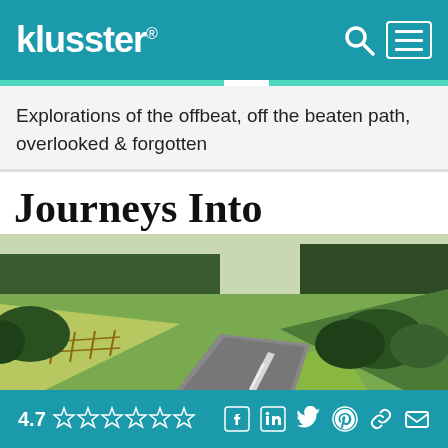klusster® [search icon] [menu icon]
Explorations of the offbeat, off the beaten path, overlooked & forgotten
Journeys Into
[Figure (photo): A winding rural road through green fields and trees, receding into the distance]
By Eric Model | Contact Author 💬
3 Min Read
4.7 ☆☆☆☆☆☆ [Facebook] [LinkedIn] [Twitter] [Pinterest] [Link] [Email]